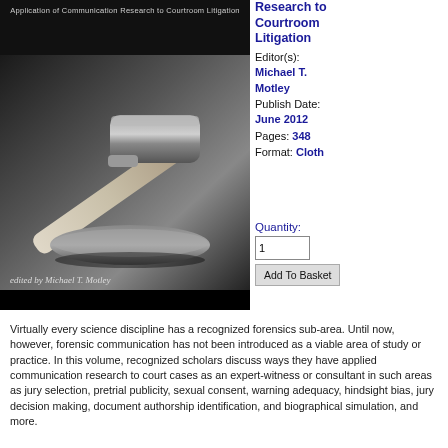[Figure (photo): Book cover for 'Application of Communication Research to Courtroom Litigation' edited by Michael T. Motley, showing a judge's gavel on a dark background]
Research to Courtroom Litigation
Editor(s): Michael T. Motley
Publish Date: June 2012
Pages: 348
Format: Cloth
Quantity: 1
Add To Basket
Virtually every science discipline has a recognized forensics sub-area. Until now, however, forensic communication has not been introduced as a viable area of study or practice. In this volume, recognized scholars discuss ways they have applied communication research to court cases as an expert-witness or consultant in such areas as jury selection, pretrial publicity, sexual consent, warning adequacy, hindsight bias, jury decision making, document authorship identification, and biographical simulation, and more.